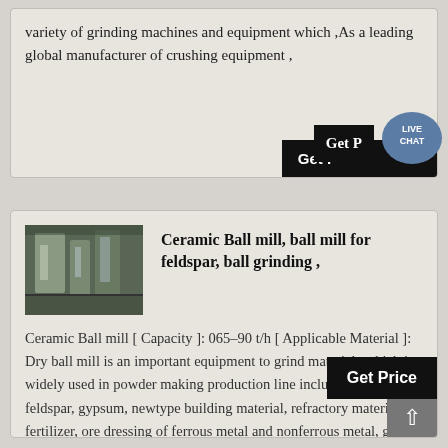variety of grinding machines and equipment which ,As a leading global manufacturer of crushing equipment ,
[Figure (photo): Industrial grinding/ball mill equipment photograph]
Ceramic Ball mill, ball mill for feldspar, ball grinding ,
Ceramic Ball mill [ Capacity ]: 065–90 t/h [ Applicable Material ]: Dry ball mill is an important equipment to grind materials which is widely used in powder making production line including cement, feldspar, gypsum, newtype building material, refractory material, fertilizer, ore dressing of ferrous metal and nonferrous metal, glass ceramics, etc